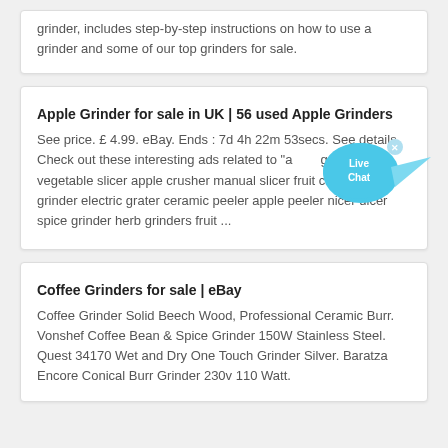grinder, includes step-by-step instructions on how to use a grinder and some of our top grinders for sale.
Apple Grinder for sale in UK | 56 used Apple Grinders
See price. £ 4.99. eBay. Ends : 7d 4h 22m 53secs. See details. Check out these interesting ads related to "apple grinder". vegetable slicer apple crusher manual slicer fruit crusher burr grinder electric grater ceramic peeler apple peeler nicer dicer spice grinder herb grinders fruit ...
Coffee Grinders for sale | eBay
Coffee Grinder Solid Beech Wood, Professional Ceramic Burr. Vonshef Coffee Bean & Spice Grinder 150W Stainless Steel. Quest 34170 Wet and Dry One Touch Grinder Silver. Baratza Encore Conical Burr Grinder 230v 110 Watt.